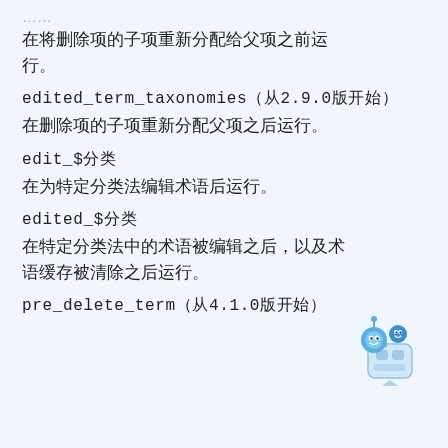……
在将删除项的子项重新分配给父项之前运行。
edited_term_taxonomies（从2.9.0版开始）
在删除项的子项重新分配父项之后运行。
edit_$分类
在为特定分类法编辑术语后运行。
edited_$分类
在特定分类法中的术语被编辑之后，以及术语缓存被清除之后运行。
pre_delete_term（从4.1.0版开始）